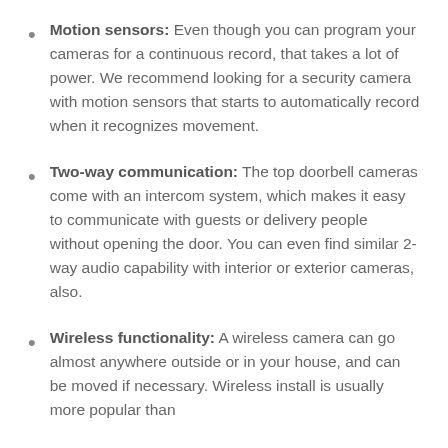Motion sensors: Even though you can program your cameras for a continuous record, that takes a lot of power. We recommend looking for a security camera with motion sensors that starts to automatically record when it recognizes movement.
Two-way communication: The top doorbell cameras come with an intercom system, which makes it easy to communicate with guests or delivery people without opening the door. You can even find similar 2-way audio capability with interior or exterior cameras, also.
Wireless functionality: A wireless camera can go almost anywhere outside or in your house, and can be moved if necessary. Wireless install is usually more popular than